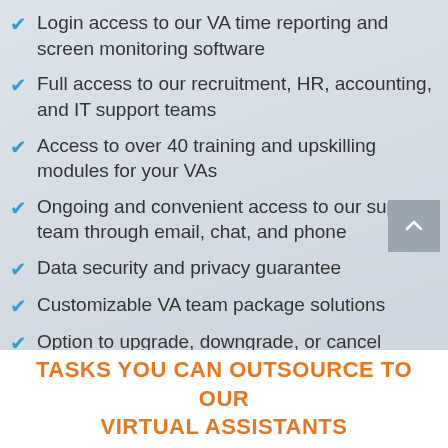Login access to our VA time reporting and screen monitoring software
Full access to our recruitment, HR, accounting, and IT support teams
Access to over 40 training and upskilling modules for your VAs
Ongoing and convenient access to our support team through email, chat, and phone
Data security and privacy guarantee
Customizable VA team package solutions
Option to upgrade, downgrade, or cancel anytime
Succession planning and VA talent pipelining
TASKS YOU CAN OUTSOURCE TO OUR VIRTUAL ASSISTANTS